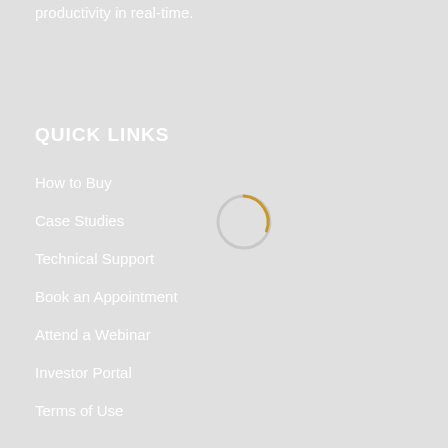productivity in real-time.
QUICK LINKS
How to Buy
Case Studies
Technical Support
Book an Appointment
Attend a Webinar
Investor Portal
Terms of Use
[Figure (other): A loading spinner — partial circle arc in gold/amber color on a light gray circle outline]